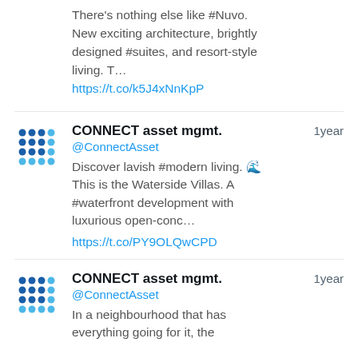There's nothing else like #Nuvo. New exciting architecture, brightly designed #suites, and resort-style living. T…
https://t.co/k5J4xNnKpP
CONNECT asset mgmt. @ConnectAsset 1year
Discover lavish #modern living. 🌊 This is the Waterside Villas. A #waterfront development with luxurious open-conc…
https://t.co/PY9OLQwCPD
CONNECT asset mgmt. @ConnectAsset 1year
In a neighbourhood that has everything going for it, the